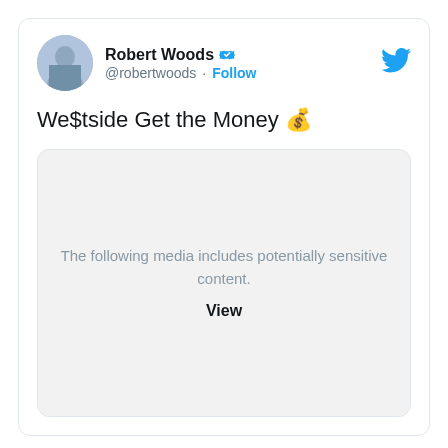Robert Woods @robertwoods · Follow
We$tside Get the Money 💰
[Figure (screenshot): Sensitive media blur overlay with text: The following media includes potentially sensitive content. View]
The following media includes potentially sensitive content.

View